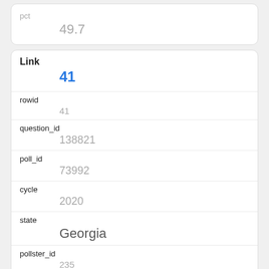| pct | 49.7 |
| Link | 41 |
| rowid | 41 |
| question_id | 138821 |
| poll_id | 73992 |
| cycle | 2020 |
| state | Georgia |
| pollster_id | 235 |
| pollster | Opinion Savvy/InsiderAdvantage |
| sponsor_ids | 195 |